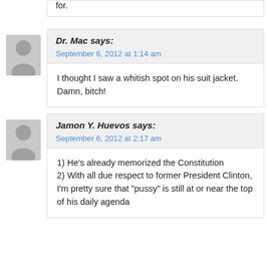for.
Dr. Mac says:
September 6, 2012 at 1:14 am
I thought I saw a whitish spot on his suit jacket. Damn, bitch!
Jamon Y. Huevos says:
September 6, 2012 at 2:17 am
1) He's already memorized the Constitution
2) With all due respect to former President Clinton, I'm pretty sure that "pussy" is still at or near the top of his daily agenda